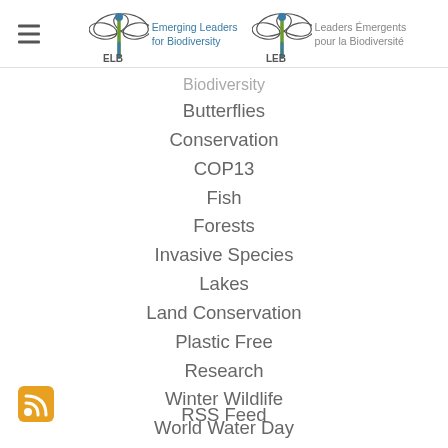Emerging Leaders for Biodiversity / Leaders Émergents pour la Biodiversité
Biodiversity
Butterflies
Conservation
COP13
Fish
Forests
Invasive Species
Lakes
Land Conservation
Plastic Free
Research
Winter Wildlife
World Water Day
Zero Waste
RSS Feed